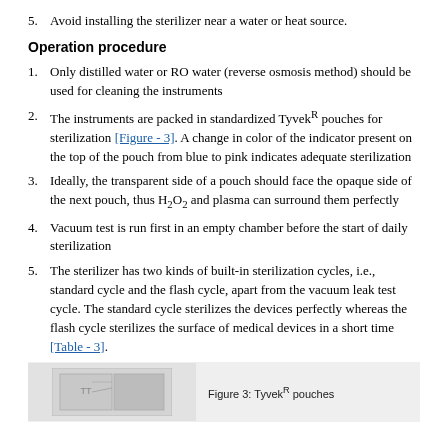5. Avoid installing the sterilizer near a water or heat source.
Operation procedure
1. Only distilled water or RO water (reverse osmosis method) should be used for cleaning the instruments
2. The instruments are packed in standardized TyvekR pouches for sterilization [Figure - 3]. A change in color of the indicator present on the top of the pouch from blue to pink indicates adequate sterilization
3. Ideally, the transparent side of a pouch should face the opaque side of the next pouch, thus H2O2 and plasma can surround them perfectly
4. Vacuum test is run first in an empty chamber before the start of daily sterilization
5. The sterilizer has two kinds of built-in sterilization cycles, i.e., standard cycle and the flash cycle, apart from the vacuum leak test cycle. The standard cycle sterilizes the devices perfectly whereas the flash cycle sterilizes the surface of medical devices in a short time [Table - 3].
[Figure (photo): Photo of Tyvek pouches]
Figure 3: TyvekR pouches